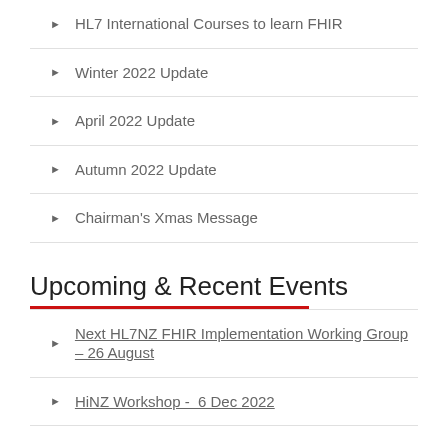HL7 International Courses to learn FHIR
Winter 2022 Update
April 2022 Update
Autumn 2022 Update
Chairman's Xmas Message
Upcoming & Recent Events
Next HL7NZ FHIR Implementation Working Group – 26 August
HiNZ Workshop -  6 Dec 2022